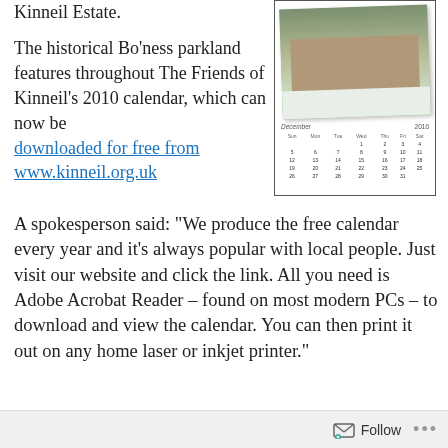Kinneil Estate.
The historical Bo'ness parkland features throughout The Friends of Kinneil's 2010 calendar, which can now be downloaded for free from www.kinneil.org.uk
[Figure (photo): A decorative calendar page showing a photo of a castle/estate building in snow above a December 2010 mini calendar grid, inside a bordered box.]
A spokesperson said: "We produce the free calendar every year and it's always popular with local people. Just visit our website and click the link. All you need is Adobe Acrobat Reader – found on most modern PCs – to download and view the calendar. You can then print it out on any home laser or inkjet printer."
The calendar is one of a series of free downloads
Follow ...